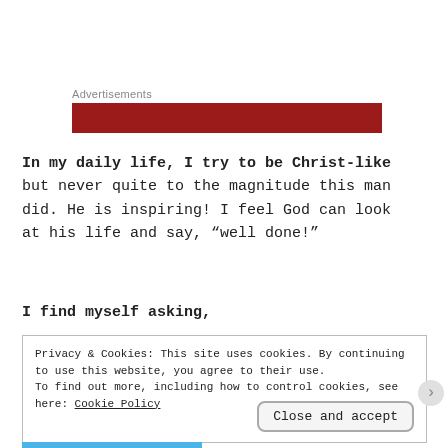Advertisements
[Figure (other): Red advertisement banner bar]
In my daily life, I try to be Christ-like but never quite to the magnitude this man did. He is inspiring! I feel God can look at his life and say, “well done!”
I find myself asking,
Privacy & Cookies: This site uses cookies. By continuing to use this website, you agree to their use.
To find out more, including how to control cookies, see here: Cookie Policy
Close and accept